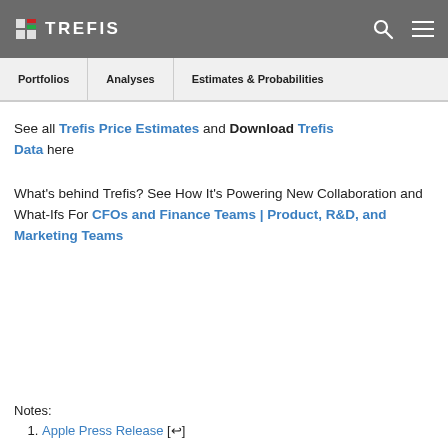TREFIS — Portfolios | Analyses | Estimates & Probabilities
See all Trefis Price Estimates and Download Trefis Data here
What's behind Trefis? See How It's Powering New Collaboration and What-Ifs For CFOs and Finance Teams | Product, R&D, and Marketing Teams
Notes:
Apple Press Release [↩]